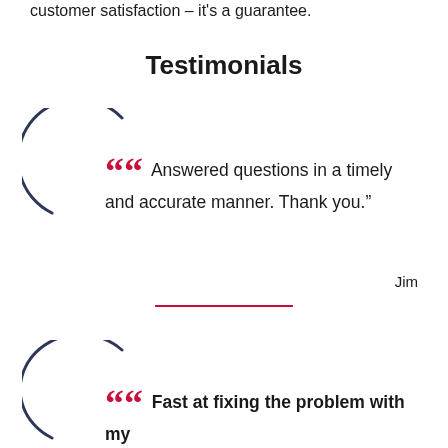customer satisfaction – it's a guarantee.
Testimonials
“Answered questions in a timely and accurate manner. Thank you.”
Jim
Fast at fixing the problem with my